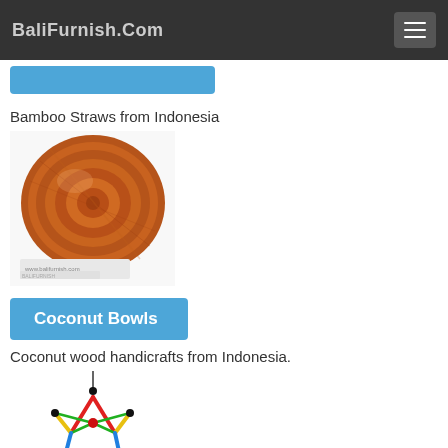BaliFurnish.Com
[Figure (screenshot): Partially visible blue button at the top of content area]
Bamboo Straws from Indonesia
[Figure (photo): Coconut wood bowl, round, reddish-brown wood grain texture, photographed from above on white background with BaliFurnish.com watermark]
Coconut Bowls
Coconut wood handicrafts from Indonesia.
[Figure (photo): Colorful star-shaped dreamcatcher with red, yellow, green, blue, purple woven threads, black beads, and feathers hanging below]
[Figure (screenshot): Partially visible blue button at the bottom of the page]